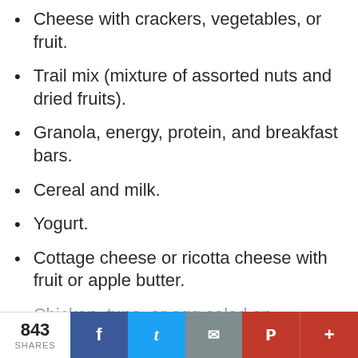Cheese with crackers, vegetables, or fruit.
Trail mix (mixture of assorted nuts and dried fruits).
Granola, energy, protein, and breakfast bars.
Cereal and milk.
Yogurt.
Cottage cheese or ricotta cheese with fruit or apple butter.
Chicken, tuna, or egg salad on crackers.
843 SHARES  [Facebook] [Twitter] [Email] [Pinterest] [Plus]